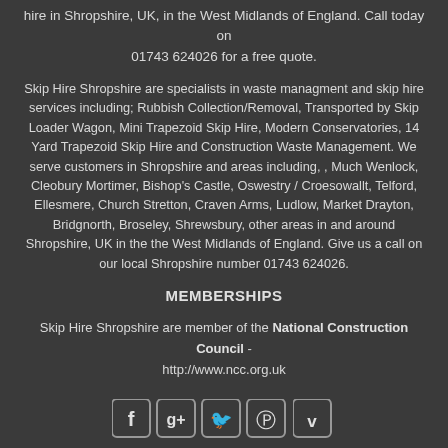hire in Shropshire, UK, in the West Midlands of England. Call today on 01743 624026 for a free quote.
Skip Hire Shropshire are specialists in waste managment and skip hire services including; Rubbish Collection/Removal, Transported by Skip Loader Wagon, Mini Trapezoid Skip Hire, Modern Conservatories, 14 Yard Trapezoid Skip Hire and Construction Waste Management. We serve customers in Shropshire and areas including, , Much Wenlock, Cleobury Mortimer, Bishop's Castle, Oswestry / Croesowallt, Telford, Ellesmere, Church Stretton, Craven Arms, Ludlow, Market Drayton, Bridgnorth, Broseley, Shrewsbury, other areas in and around Shropshire, UK in the the West Midlands of England. Give us a call on our local Shropshire number 01743 624026.
MEMBERSHIPS
Skip Hire Shropshire are member of the National Construction Council - http://www.ncc.org.uk
[Figure (other): Social media icons: Facebook, Google+, Twitter, Pinterest, Vimeo]